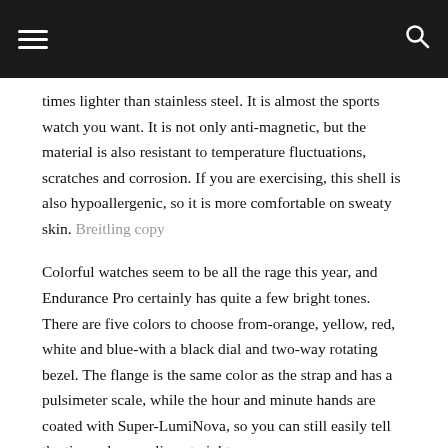[navigation bar with hamburger menu and search icon]
times lighter than stainless steel. It is almost the sports watch you want. It is not only anti-magnetic, but the material is also resistant to temperature fluctuations, scratches and corrosion. If you are exercising, this shell is also hypoallergenic, so it is more comfortable on sweaty skin. Breitling copy
Colorful watches seem to be all the rage this year, and Endurance Pro certainly has quite a few bright tones. There are five colors to choose from-orange, yellow, red, white and blue-with a black dial and two-way rotating bezel. The flange is the same color as the strap and has a pulsimeter scale, while the hour and minute hands are coated with Super-LumiNova, so you can still easily tell the time when cycling at night.
Although the watch is equipped with a Diver Pro rubber strap, users can also purchase the same colorful Outerknown NATO